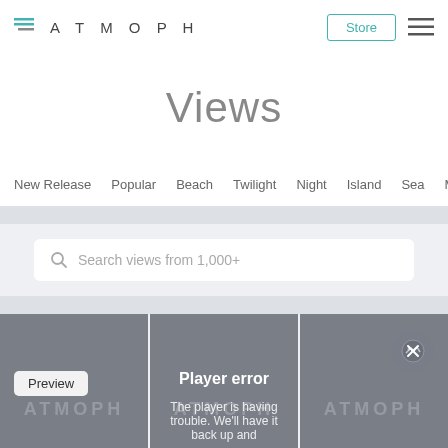ATMOPH — Store
Views
New Release  Popular  Beach  Twilight  Night  Island  Sea  Mou...
Search views from 1,000+
[Figure (screenshot): Three video/image cards in a grid. First card shows a 'Preview' label button on a gray background. Second card shows 'Player error' title text on a gray background. Third card shows a broken image icon on a gray background. Below the cards is text: 'The player is having trouble. We'll have it back up and']
The player is having trouble. We'll have it back up and